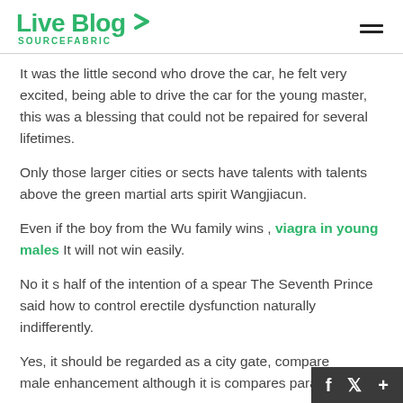Live Blog SOURCEFABRIC
It was the little second who drove the car, he felt very excited, being able to drive the car for the young master, this was a blessing that could not be repaired for several lifetimes.
Only those larger cities or sects have talents with talents above the green martial arts spirit Wangjiacun.
Even if the boy from the Wu family wins , viagra in young males It will not win easily.
No it s half of the intention of a spear The Seventh Prince said how to control erectile dysfunction naturally indifferently.
Yes, it should be regarded as a city gate, compare male enhancement although it is compares para...